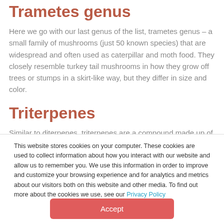Trametes genus
Here we go with our last genus of the list, trametes genus – a small family of mushrooms (just 50 known species) that are widespread and often used as caterpillar and moth food. They closely resemble turkey tail mushrooms in how they grow off trees or stumps in a skirt-like way, but they differ in size and color.
Triterpenes
Similar to diterpenes, triterpenes are a compound made up of three terpenes and are linked to potential immune...
This website stores cookies on your computer. These cookies are used to collect information about how you interact with our website and allow us to remember you. We use this information in order to improve and customize your browsing experience and for analytics and metrics about our visitors both on this website and other media. To find out more about the cookies we use, see our Privacy Policy
Accept